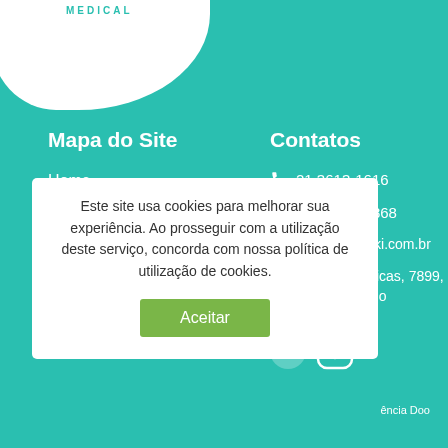[Figure (logo): White blob logo shape with MEDICAL text]
Mapa do Site
Home
Quem Somos
Soluções
Compliance
Blog
Fale Conosco
Contatos
21 3613-1616
21 97236-9868
contato@zeiki.com.br
Av. das Américas, 7899, da Tijuca – Rio
[Figure (infographic): Social media icons - LinkedIn and Instagram]
Este site usa cookies para melhorar sua experiência. Ao prosseguir com a utilização deste serviço, concorda com nossa política de utilização de cookies.
Aceitar
ência Doo